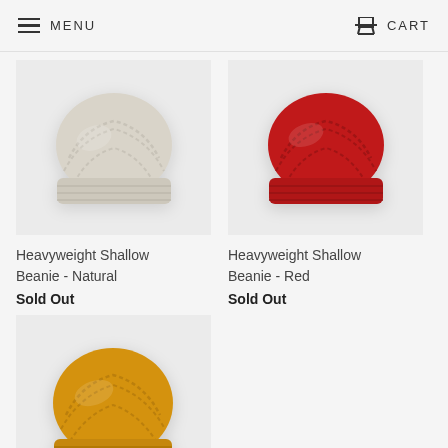MENU  CART
[Figure (photo): Heavyweight Shallow Beanie in Natural color - cream/off-white knit beanie on light gray background]
Heavyweight Shallow Beanie - Natural
Sold Out
[Figure (photo): Heavyweight Shallow Beanie in Red color - red knit beanie on light gray background]
Heavyweight Shallow Beanie - Red
Sold Out
[Figure (photo): Heavyweight Shallow Beanie in Yellow/Mustard color - mustard yellow knit beanie on light gray background]
Heavyweight Shallow